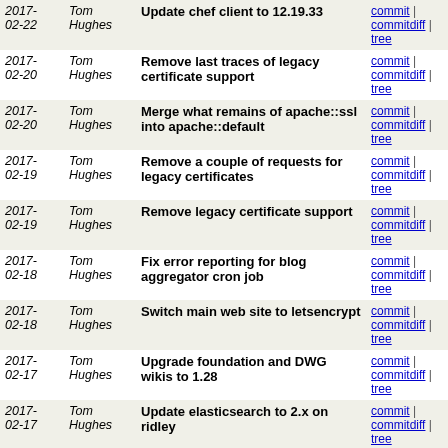| Date | Author | Message | Links |
| --- | --- | --- | --- |
| 2017-02-22 | Tom Hughes | Update chef client to 12.19.33 | commit | commitdiff | tree |
| 2017-02-20 | Tom Hughes | Remove last traces of legacy certificate support | commit | commitdiff | tree |
| 2017-02-20 | Tom Hughes | Merge what remains of apache::ssl into apache::default | commit | commitdiff | tree |
| 2017-02-19 | Tom Hughes | Remove a couple of requests for legacy certificates | commit | commitdiff | tree |
| 2017-02-19 | Tom Hughes | Remove legacy certificate support | commit | commitdiff | tree |
| 2017-02-18 | Tom Hughes | Fix error reporting for blog aggregator cron job | commit | commitdiff | tree |
| 2017-02-18 | Tom Hughes | Switch main web site to letsencrypt | commit | commitdiff | tree |
| 2017-02-17 | Tom Hughes | Upgrade foundation and DWG wikis to 1.28 | commit | commitdiff | tree |
| 2017-02-17 | Tom Hughes | Update elasticsearch to 2.x on ridley | commit | commitdiff | tree |
| 2017-02-17 | Tom Hughes | Update board wiki to 1.28 | commit | commitdiff | tree |
| 2017-02-16 | Tom Hughes | Drop use of legacy tile and osmfoundation certificates | commit | commitdiff | tree |
| 2017-02-16 | Tom Hughes | Remove support for the legacy tile certificate | commit | commitdiff | tree |
| 2017-02-16 | Tom Hughes | Teach tile servers to handle ACME challenges | commit | commitdiff | tree |